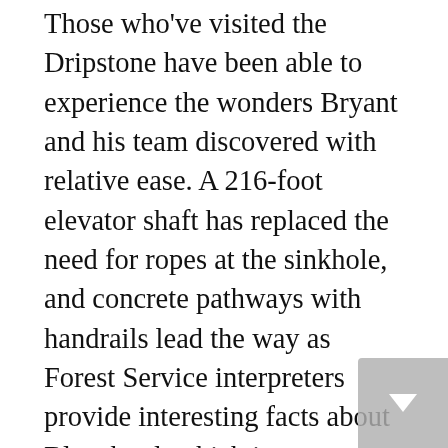Those who've visited the Dripstone have been able to experience the wonders Bryant and his team discovered with relative ease. A 216-foot elevator shaft has replaced the need for ropes at the sinkhole, and concrete pathways with handrails lead the way as Forest Service interpreters provide interesting facts about Blanchard, which is now ranked among the 10 most beautiful caverns in North America.
The latest Blanchard Springs Cavern tour debuted in the spring of 2000. "Wild Cave" tours are guided trips into undeveloped reaches of the cavern system. An immediate hit with the more adventurous, the wild cave